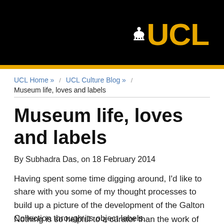[Figure (logo): UCL logo with gold UCL text and small dome icon on black background header]
UCL Home » / UCL Culture Blog » / Museum life, loves and labels
Museum life, loves and labels
By Subhadra Das, on 18 February 2014
Having spent some time digging around, I'd like to share with you some of my thought processes to build up a picture of the development of the Galton Collection through its object labels.
Nothing is so helpful to a curator than the work of those